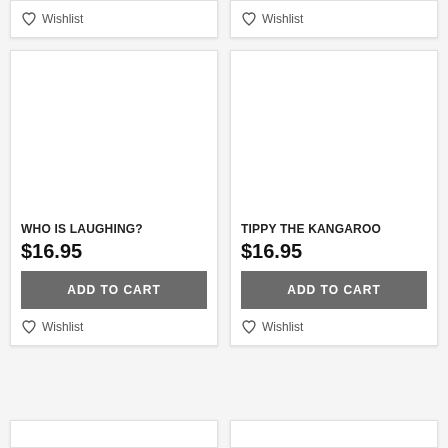[Figure (other): Partial top of product card with Wishlist button (left)]
[Figure (other): Partial top of product card with Wishlist button (right)]
[Figure (other): Product card for WHO IS LAUGHING? with price $16.95, Add to Cart button, and Wishlist link]
[Figure (other): Product card for TIPPY THE KANGAROO with price $16.95, Add to Cart button, and Wishlist link]
[Figure (other): Partial bottom product card (left)]
[Figure (other): Partial bottom product card (right)]